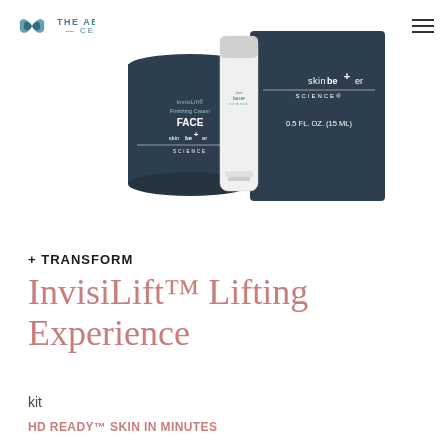THE AESTHETIC CENTER
[Figure (photo): skinbe+er Science product kit showing two dark navy containers (InvisiLift Finishing Cream Face jar and a tube) and a navy box labeled skinbe+er SCIENCE 0.5 FL. OZ. (15 ML)]
+ TRANSFORM
InvisiLift™ Lifting Experience
kit
HD READY™ SKIN IN MINUTES